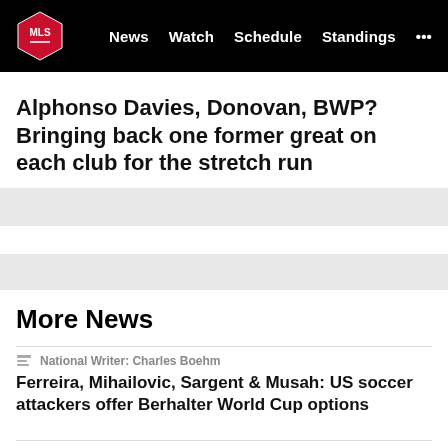MLS | News | Watch | Schedule | Standings | ...
Alphonso Davies, Donovan, BWP? Bringing back one former great on each club for the stretch run
More News
National Writer: Charles Boehm
Ferreira, Mihailovic, Sargent & Musah: US soccer attackers offer Berhalter World Cup options